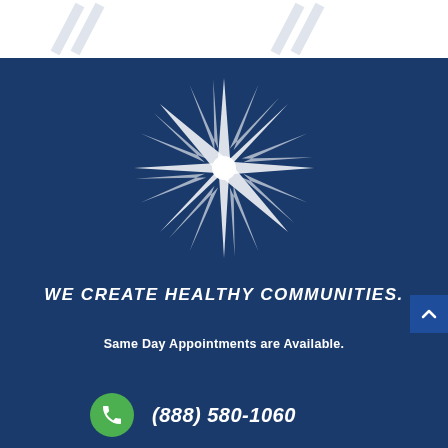[Figure (logo): White decorative star/starburst logo on dark blue background]
WE CREATE HEALTHY COMMUNITIES.
Same Day Appointments are Available.
(888) 580-1060